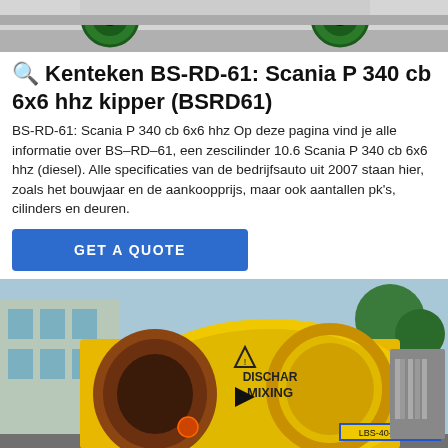[Figure (photo): Top portion of a large truck with green wheels visible against a light background]
🔍 Kenteken BS-RD-61: Scania P 340 cb 6x6 hhz kipper (BSRD61)
BS-RD-61: Scania P 340 cb 6x6 hhz Op deze pagina vind je alle informatie over BS–RD–61, een zescilinder 10.6 Scania P 340 cb 6x6 hhz (diesel). Alle specificaties van de bedrijfsauto uit 2007 staan hier, zoals het bouwjaar en de aankoopprijs, maar ook aantallen pk's, cilinders en deuren.
[Figure (photo): Yellow cement mixer truck (concrete mixer) with DISCHAR MIXING labels, labeled LBS-40-12-60R, parked outdoors near a building]
GET A QUOTE
Send Message
Inquiry Online